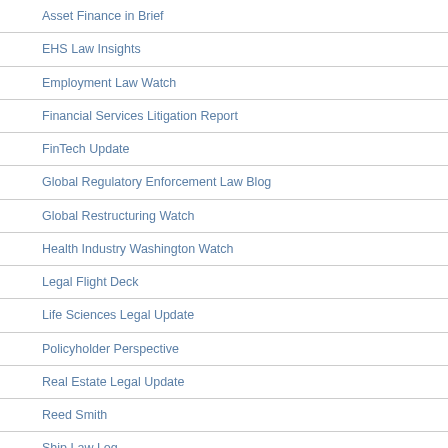Asset Finance in Brief
EHS Law Insights
Employment Law Watch
Financial Services Litigation Report
FinTech Update
Global Regulatory Enforcement Law Blog
Global Restructuring Watch
Health Industry Washington Watch
Legal Flight Deck
Life Sciences Legal Update
Policyholder Perspective
Real Estate Legal Update
Reed Smith
Ship Law Log
Structured Finance In Brief